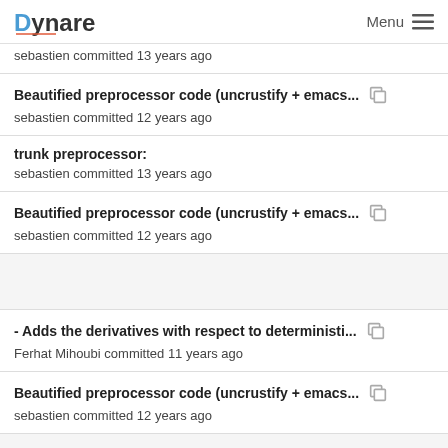Dynare  Menu
sebastien committed 13 years ago
Beautified preprocessor code (uncrustify + emacs...  sebastien committed 12 years ago
trunk preprocessor:  sebastien committed 13 years ago
Beautified preprocessor code (uncrustify + emacs...  sebastien committed 12 years ago
- Adds the derivatives with respect to deterministi...  Ferhat Mihoubi committed 11 years ago
Beautified preprocessor code (uncrustify + emacs...  sebastien committed 12 years ago